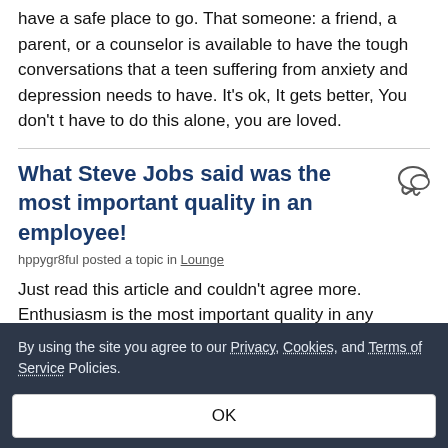have a safe place to go. That someone: a friend, a parent, or a counselor is available to have the tough conversations that a teen suffering from anxiety and depression needs to have. It's ok, It gets better, You don't t have to do this alone, you are loved.
What Steve Jobs said was the most important quality in an employee!
hppygr8ful posted a topic in Lounge
Just read this article and couldn't agree more. Enthusiasm is the most important quality in any employee. People who
By using the site you agree to our Privacy, Cookies, and Terms of Service Policies.
OK